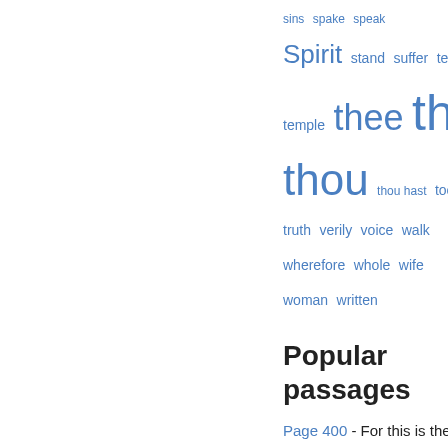[Figure (infographic): Word cloud with blue terms of varying sizes: sins, spake, speak (small); Spirit (large), stand, suffer, tell (medium); temple (medium), thee (large), things (very large); thou (very large), thou hast, took (medium); truth, verily, voice, walk (medium); wherefore, whole, wife (medium); woman, written (medium)]
Popular passages
Page 400 - For this is the covenant that I will make with the house of Israel after those days, saith the Lord; I will put My laws into their mind, and write them in their hearts : and I will be to them a God, and they shall be to